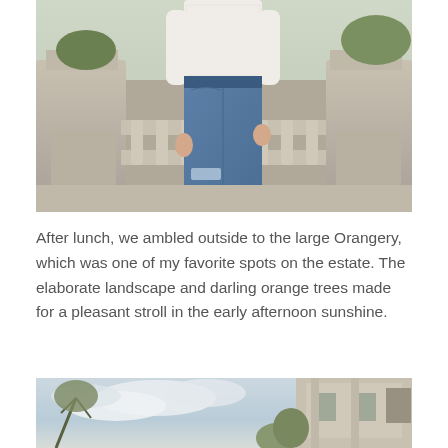[Figure (photo): A woman wearing a white lace long-sleeve top and ripped blue denim jeans, posing outdoors in front of ornate stone balustrade/railing, with stone pillars and greenery in the background.]
After lunch, we ambled outside to the large Orangery, which was one of my favorite spots on the estate. The elaborate landscape and darling orange trees made for a pleasant stroll in the early afternoon sunshine.
[Figure (photo): A partial view of a historic stone building or estate exterior against a cloudy sky, with tree branches visible in the foreground.]